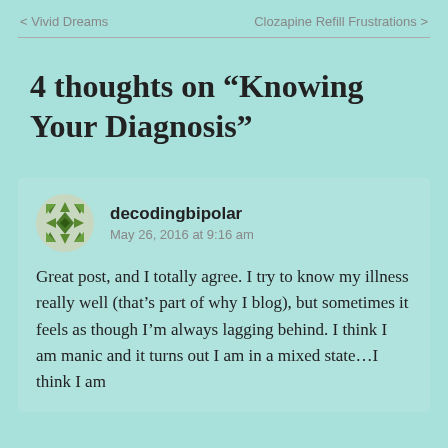< Vivid Dreams    Clozapine Refill Frustrations >
4 thoughts on “Knowing Your Diagnosis”
decodingbipolar
May 26, 2016 at 9:16 am

Great post, and I totally agree. I try to know my illness really well (that’s part of why I blog), but sometimes it feels as though I’m always lagging behind. I think I am manic and it turns out I am in a mixed state…I think I am